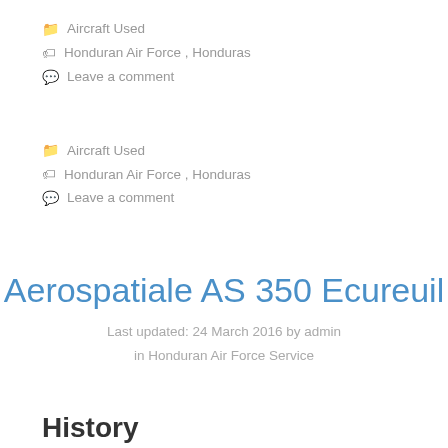🗁 Aircraft Used
🏷 Honduran Air Force, Honduras
💬 Leave a comment
🗁 Aircraft Used
🏷 Honduran Air Force, Honduras
💬 Leave a comment
Aerospatiale AS 350 Ecureuil
Last updated: 24 March 2016 by admin
in Honduran Air Force Service
History
Used by the Escuadrón de Helicópteros